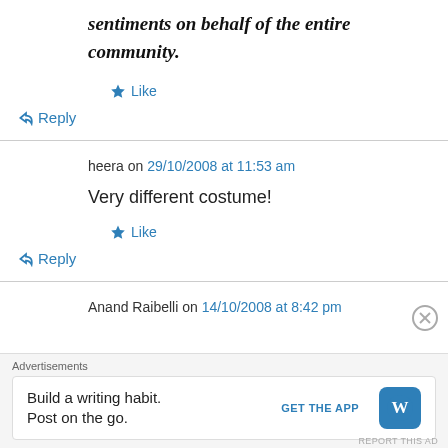sentiments on behalf of the entire community.
★ Like
↪ Reply
heera on 29/10/2008 at 11:53 am
Very different costume!
★ Like
↪ Reply
Anand Raibelli on 14/10/2008 at 8:42 pm
Advertisements
Build a writing habit.
Post on the go.
GET THE APP